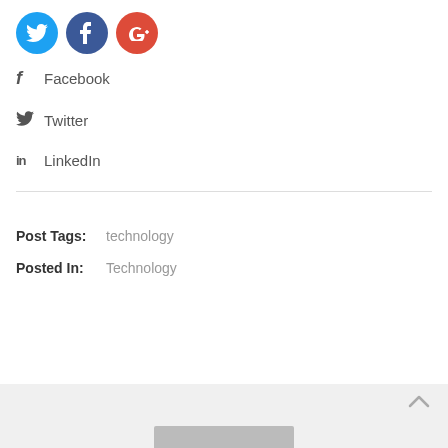[Figure (illustration): Three social media icon circles: Twitter (blue), Facebook (dark blue), Google+ (red)]
Facebook
Twitter
LinkedIn
Post Tags:  technology
Posted In:  Technology